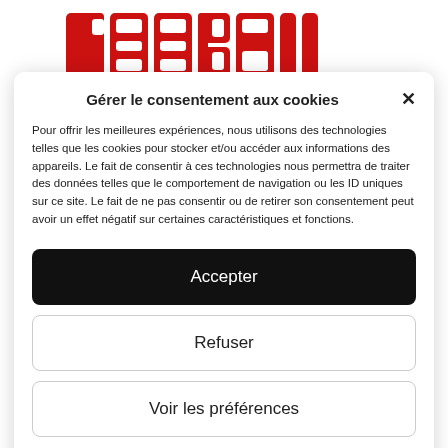[Figure (logo): Reebok-style red logo text 'reeball' with rectangular cutouts in letters, on white background]
Gérer le consentement aux cookies
Pour offrir les meilleures expériences, nous utilisons des technologies telles que les cookies pour stocker et/ou accéder aux informations des appareils. Le fait de consentir à ces technologies nous permettra de traiter des données telles que le comportement de navigation ou les ID uniques sur ce site. Le fait de ne pas consentir ou de retirer son consentement peut avoir un effet négatif sur certaines caractéristiques et fonctions.
Accepter
Refuser
Voir les préférences
Politique de cookies   Personal data protection charter